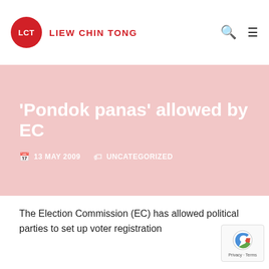LCT  LIEW CHIN TONG
'Pondok panas' allowed by EC
13 MAY 2009   UNCATEGORIZED
The Election Commission (EC) has allowed political parties to set up voter registration